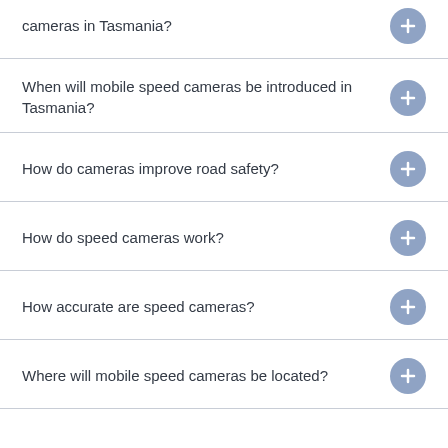cameras in Tasmania?
When will mobile speed cameras be introduced in Tasmania?
How do cameras improve road safety?
How do speed cameras work?
How accurate are speed cameras?
Where will mobile speed cameras be located?